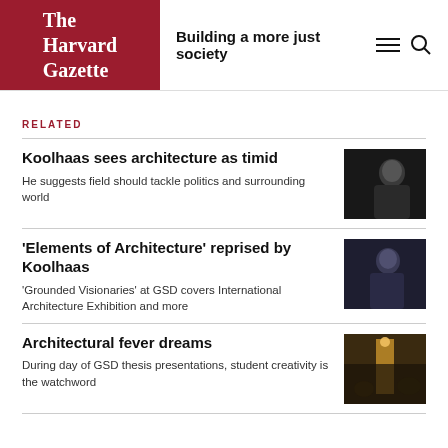The Harvard Gazette — Building a more just society
RELATED
Koolhaas sees architecture as timid
He suggests field should tackle politics and surrounding world
[Figure (photo): Portrait of Rem Koolhaas against dark background]
'Elements of Architecture' reprised by Koolhaas
'Grounded Visionaries' at GSD covers International Architecture Exhibition and more
[Figure (photo): Portrait of Koolhaas in dark shirt against dark background]
Architectural fever dreams
During day of GSD thesis presentations, student creativity is the watchword
[Figure (photo): Crowd scene at GSD thesis presentations with warm lighting]